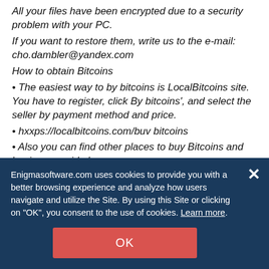All your files have been encrypted due to a security problem with your PC.
If you want to restore them, write us to the e-mail: cho.dambler@yandex.com
How to obtain Bitcoins
• The easiest way to by bitcoins is LocalBitcoins site. You have to register, click By bitcoins', and select the seller by payment method and price.
• hxxps://localbitcoins.com/buv bitcoins
• Also you can find other places to buy Bitcoins and beginners guide here:
• hxxp://mvw.coindesk.com/information/how-on-i-buv-bitcoins/
Enigmasoftware.com uses cookies to provide you with a better browsing experience and analyze how users navigate and utilize the Site. By using this Site or clicking on "OK", you consent to the use of cookies. Learn more.